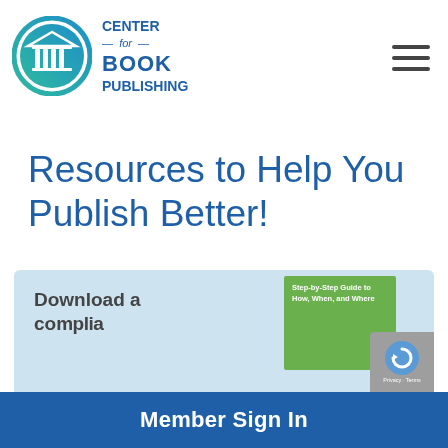[Figure (logo): Center for Book Publishing logo: circular icon with a building/columns symbol in teal/green gradient, and text 'CENTER for BOOK PUBLISHING' in dark blue to the right]
Resources to Help You Publish Better!
Download a
[Figure (illustration): Green book cover thumbnail with text 'Step-by-Step Guide to How, When, and Where']
Member Sign In
Privacy · Terms